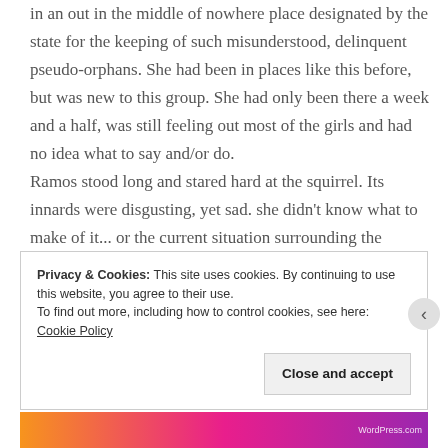in an out in the middle of nowhere place designated by the state for the keeping of such misunderstood, delinquent pseudo-orphans. She had been in places like this before, but was new to this group. She had only been there a week and a half, was still feeling out most of the girls and had no idea what to say and/or do. Ramos stood long and stared hard at the squirrel. Its innards were disgusting, yet sad. she didn't know what to make of it... or the current situation surrounding the fragile little creature's looming demise. All she knew was that she had to come up with an answer.
Privacy & Cookies: This site uses cookies. By continuing to use this website, you agree to their use.
To find out more, including how to control cookies, see here: Cookie Policy
Close and accept